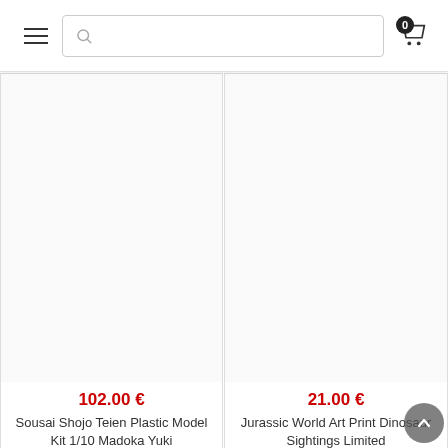[Figure (screenshot): Website navigation bar with hamburger menu icon on left, search bar in center, and shopping cart icon with badge showing '0' on right]
102.00 €
Sousai Shojo Teien Plastic Model Kit 1/10 Madoka Yuki
21.00 €
Jurassic World Art Print Dinosaur Sightings Limited